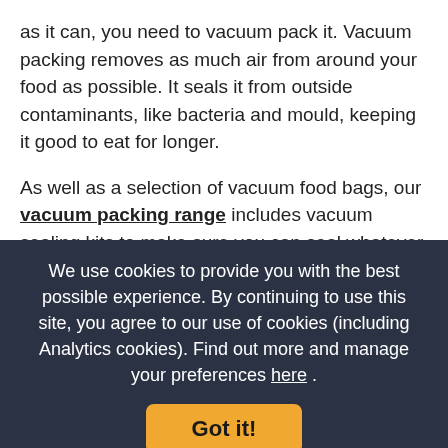as it can, you need to vacuum pack it. Vacuum packing removes as much air from around your food as possible. It seals it from outside contaminants, like bacteria and mould, keeping it good to eat for longer.
As well as a selection of vacuum food bags, our vacuum packing range includes vacuum sealing kits to make sure you can seal whatever food you want to preserve, from fresh fruit to last Friday's takeaway pizza.
At Lakeland you'll find food preservers and savers for all types of food. Our fridge food storage containers and
We use cookies to provide you with the best possible experience. By continuing to use this site, you agree to our use of cookies (including Analytics cookies). Find out more and manage your preferences here .